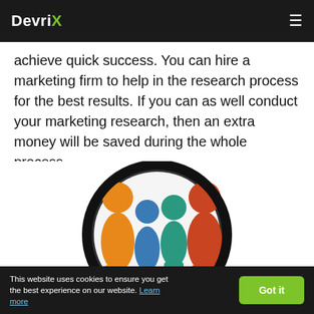DevriX
achieve quick success. You can hire a marketing firm to help in the research process for the best results. If you can as well conduct your marketing research, then an extra money will be saved during the whole process.
[Figure (photo): A magnifying glass held by a hand examining colorful 3D human figurines — orange, blue, teal, and red — representing market research or audience analysis.]
This website uses cookies to ensure you get the best experience on our website. Learn more